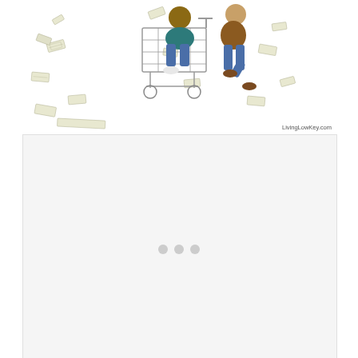[Figure (illustration): A person sitting in a shopping cart being pushed by another person, with dollar bills flying around them. Watermark reads LivingLowKey.com in the bottom right corner.]
[Figure (other): A large blank light gray box below the illustration, with three small gray dots arranged horizontally near the center-bottom of the box, suggesting a loading indicator or carousel navigation.]